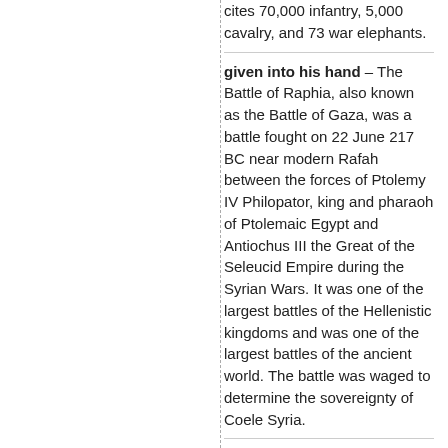cites 70,000 infantry, 5,000 cavalry, and 73 war elephants.
given into his hand – The Battle of Raphia, also known as the Battle of Gaza, was a battle fought on 22 June 217 BC near modern Rafah between the forces of Ptolemy IV Philopator, king and pharaoh of Ptolemaic Egypt and Antiochus III the Great of the Seleucid Empire during the Syrian Wars. It was one of the largest battles of the Hellenistic kingdoms and was one of the largest battles of the ancient world. The battle was waged to determine the sovereignty of Coele Syria.
The two largest of the Hellenistic kingdoms, Ptolemaic Egypt and the Seleucid Empire, were bitter enemies, and